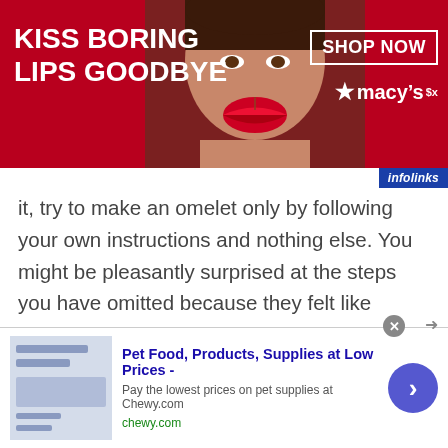[Figure (infographic): Top advertisement banner for Macy's with red background, text 'KISS BORING LIPS GOODBYE', center photo of woman's face with red lips, 'SHOP NOW' button and Macy's star logo on the right.]
it, try to make an omelet only by following your own instructions and nothing else. You might be pleasantly surprised at the steps you have omitted because they felt like “obvious” to you. For example you might notice that you have forgotten to tell the reader to turn on the burner, or to dispose the broken egg shells to the trash bin. If you can achieve that kind of attention to “obvious” details and express them in clear and simple English, then you might probably make
[Figure (infographic): Bottom advertisement for Chewy.com: 'Pet Food, Products, Supplies at Low Prices - Pay the lowest prices on pet supplies at Chewy.com']